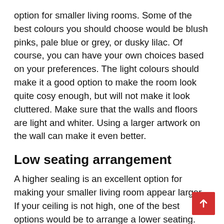option for smaller living rooms. Some of the best colours you should choose would be blush pinks, pale blue or grey, or dusky lilac. Of course, you can have your own choices based on your preferences. The light colours should make it a good option to make the room look quite cosy enough, but will not make it look cluttered. Make sure that the walls and floors are light and whiter. Using a larger artwork on the wall can make it even better.
Low seating arrangement
A higher sealing is an excellent option for making your smaller living room appear larger. If your ceiling is not high, one of the best options would be to arrange a lower seating. This will give the